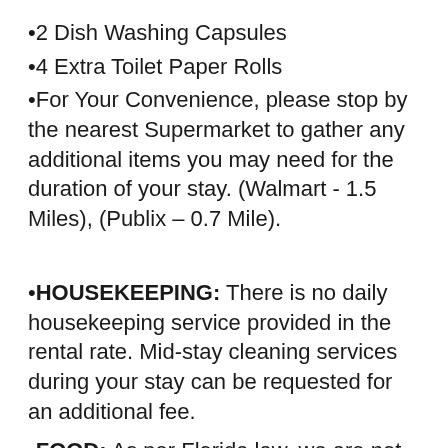•2 Dish Washing Capsules
•4 Extra Toilet Paper Rolls
•For Your Convenience, please stop by the nearest Supermarket to gather any additional items you may need for the duration of your stay. (Walmart - 1.5 Miles), (Publix – 0.7 Mile).
•HOUSEKEEPING: There is no daily housekeeping service provided in the rental rate. Mid-stay cleaning services during your stay can be requested for an additional fee.
•FOOD: As per Florida law, we are not allowed to leave open food in the refrigerators or kitchen closets, hence, all food items will be removed after the guest checks out and no